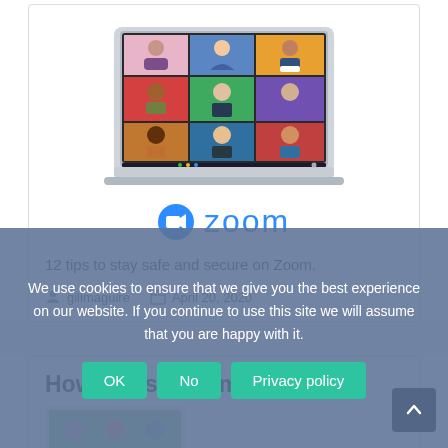[Figure (illustration): Laptop showing a Zoom video call with multiple participants in a grid layout, with diverse cartoon avatars]
[Figure (logo): Zoom logo with blue camera icon and 'zoom' text in blue]
12 tips to stay safe and secure on Zoom.
gillmaguire   April 20, 2020
How to Use Zoom
We use cookies to ensure that we give you the best experience on our website. If you continue to use this site we will assume that you are happy with it.
OK   No   Privacy policy